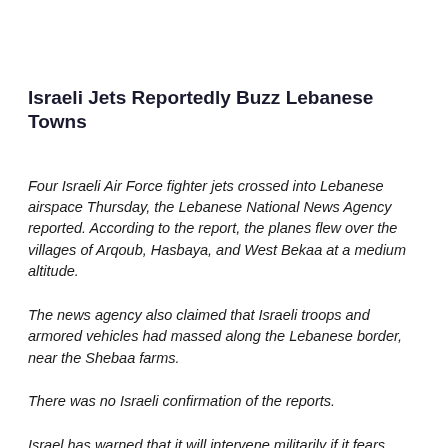Israeli Jets Reportedly Buzz Lebanese Towns
Four Israeli Air Force fighter jets crossed into Lebanese airspace Thursday, the Lebanese National News Agency reported. According to the report, the planes flew over the villages of Arqoub, Hasbaya, and West Bekaa at a medium altitude.
The news agency also claimed that Israeli troops and armored vehicles had massed along the Lebanese border, near the Shebaa farms.
There was no Israeli confirmation of the reports.
Israel has warned that it will intervene militarily if it fears